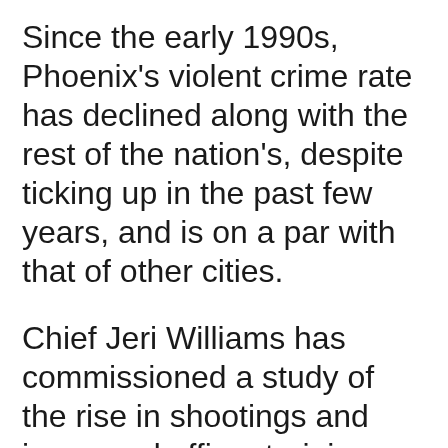Since the early 1990s, Phoenix's violent crime rate has declined along with the rest of the nation's, despite ticking up in the past few years, and is on a par with that of other cities.
Chief Jeri Williams has commissioned a study of the rise in shootings and increased officer training — though a spokeswoman did not respond to questions about what kind of training. Chief Williams said the shootings this year have had little in common with one another. "If you look at other cities...